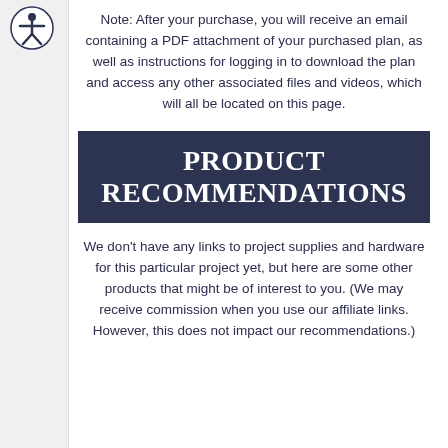[Figure (illustration): Accessibility icon (person with arms/legs spread in a circle) in top left corner]
Note: After your purchase, you will receive an email containing a PDF attachment of your purchased plan, as well as instructions for logging in to download the plan and access any other associated files and videos, which will all be located on this page.
PRODUCT RECOMMENDATIONS
We don't have any links to project supplies and hardware for this particular project yet, but here are some other products that might be of interest to you. (We may receive commission when you use our affiliate links. However, this does not impact our recommendations.)